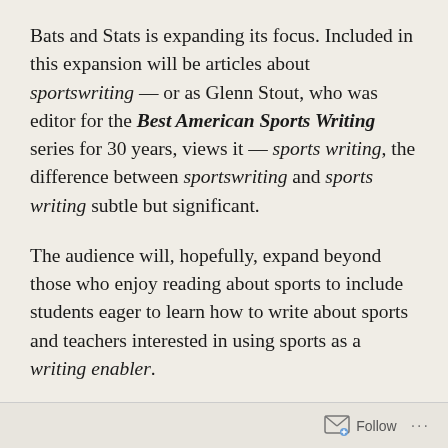Bats and Stats is expanding its focus. Included in this expansion will be articles about sportswriting — or as Glenn Stout, who was editor for the Best American Sports Writing series for 30 years, views it — sports writing, the difference between sportswriting and sports writing subtle but significant.
The audience will, hopefully, expand beyond those who enjoy reading about sports to include students eager to learn how to write about sports and teachers interested in using sports as a writing enabler.
To start on this journey, I will share and examine one of Charles P. Pierce's stories. Pierce's background is both varied and extensive. Among his achievements is his sports stories have been
Follow ···